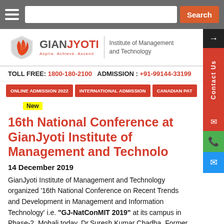Search
[Figure (logo): GianJyoti Institute of Management and Technology logo with shield and flame icon, tagline: Aspire. Achieve. Ascend.]
TOLL FREE: 1800-180-2100  ADMISSION : +91-99144-33199
ONLINE ADMISSION 2022  INTERNATIONAL ADMISSION  CANADIAN PAT...
New
16th National Conference at GianJyoti Institute of Management and Technology
14 December 2019
GianJyoti Institute of Management and Technology organized '16th National Conference on Recent Trends and Development in Management and Information Technology' i.e. "GJ-NatConMIT 2019" at its campus in Phase-2, Mohali today. Dr.Suresh Kumar Chadha, Former Chairman of University Business School of Panjab University, was the Chief Guest and Key Note Speaker on the occasion and he complimented the management and staff of